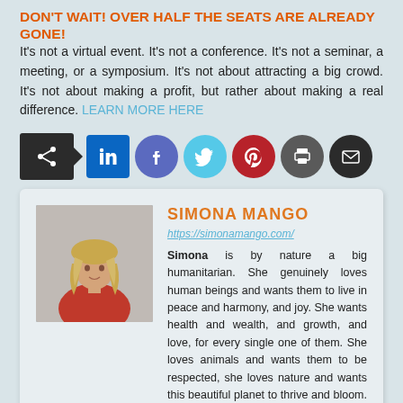DON'T WAIT! OVER HALF THE SEATS ARE ALREADY GONE!
It's not a virtual event. It's not a conference. It's not a seminar, a meeting, or a symposium. It's not about attracting a big crowd. It's not about making a profit, but rather about making a real difference. LEARN MORE HERE
[Figure (infographic): Social sharing buttons: share (arrow), LinkedIn, Facebook, Twitter, Pinterest, Print, Email]
[Figure (photo): Photo of Simona Mango, a woman with long curly blonde hair wearing a red top]
SIMONA MANGO
https://simonamango.com/
Simona is by nature a big humanitarian. She genuinely loves human beings and wants them to live in peace and harmony, and joy. She wants health and wealth, and growth, and love, for every single one of them. She loves animals and wants them to be respected, she loves nature and wants this beautiful planet to thrive and bloom. She's a